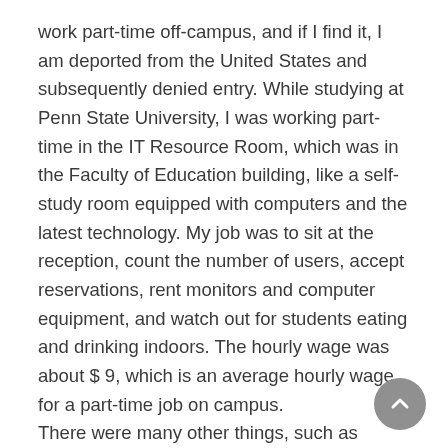work part-time off-campus, and if I find it, I am deported from the United States and subsequently denied entry. While studying at Penn State University, I was working part-time in the IT Resource Room, which was in the Faculty of Education building, like a self-study room equipped with computers and the latest technology. My job was to sit at the reception, count the number of users, accept reservations, rent monitors and computer equipment, and watch out for students eating and drinking indoors. The hourly wage was about $ 9, which is an average hourly wage for a part-time job on campus.
There were many other things, such as library management, cashiers in the cafeteria on campus, kitchen staff, on-campus event management staff, or night security work.